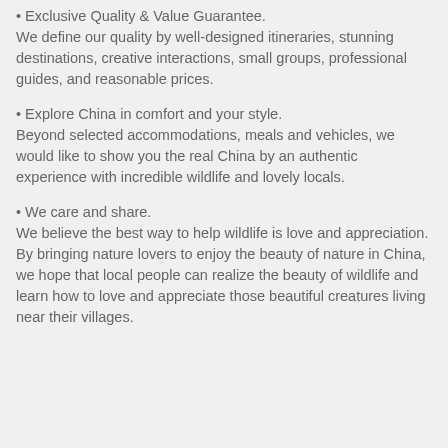• Exclusive Quality & Value Guarantee. We define our quality by well-designed itineraries, stunning destinations, creative interactions, small groups, professional guides, and reasonable prices.
• Explore China in comfort and your style. Beyond selected accommodations, meals and vehicles, we would like to show you the real China by an authentic experience with incredible wildlife and lovely locals.
• We care and share. We believe the best way to help wildlife is love and appreciation. By bringing nature lovers to enjoy the beauty of nature in China, we hope that local people can realize the beauty of wildlife and learn how to love and appreciate those beautiful creatures living near their villages.